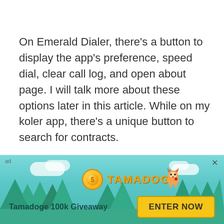On Emerald Dialer, there's a button to display the app's preference, speed dial, clear call log, and open about page. I will talk more about these options later in this article. While on my koler app, there's a unique button to search for contracts.
Using The Dial Pad
[Figure (other): Advertisement banner for Tamadoge 100k Giveaway. Features a teal/aqua background with trees, clouds, a coin logo, the Tamadoge brand name, a cartoon dog mascot, 'Tamadoge 100k Giveaway' text, and an 'ENTER NOW' button. Marked as 'ad' with a close X button.]